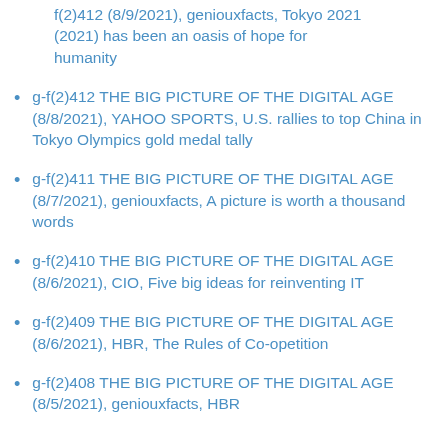f(2)412 THE BIG PICTURE OF THE DIGITAL AGE (8/8/2021), geniouxfacts, Tokyo 2021 (2021) has been an oasis of hope for humanity
g-f(2)412 THE BIG PICTURE OF THE DIGITAL AGE (8/8/2021), YAHOO SPORTS, U.S. rallies to top China in Tokyo Olympics gold medal tally
g-f(2)411 THE BIG PICTURE OF THE DIGITAL AGE (8/7/2021), geniouxfacts, A picture is worth a thousand words
g-f(2)410 THE BIG PICTURE OF THE DIGITAL AGE (8/6/2021), CIO, Five big ideas for reinventing IT
g-f(2)409 THE BIG PICTURE OF THE DIGITAL AGE (8/6/2021), HBR, The Rules of Co-opetition
g-f(2)408 THE BIG PICTURE OF THE DIGITAL AGE (8/5/2021), geniouxfacts, HBR